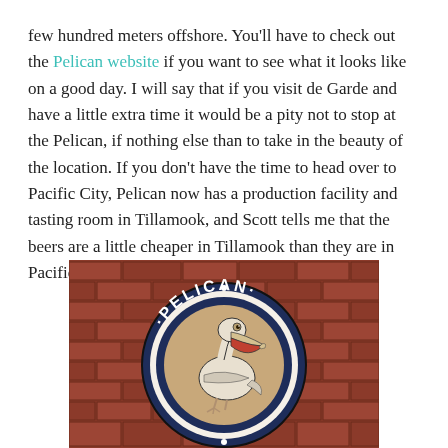few hundred meters offshore.  You'll have to check out the Pelican website if you want to see what it looks like on a good day.  I will say that if you visit de Garde and have a little extra time it would be a pity not to stop at the Pelican, if nothing else than to take in the beauty of the location.  If you don't have the time to head over to Pacific City, Pelican now has a production facility and tasting room in Tillamook, and Scott tells me that the beers are a little cheaper in Tillamook than they are in Pacific City.
[Figure (photo): Pelican Brewing Company circular sign mounted on a red brick wall, featuring a pelican bird illustration in the center with the word PELICAN arched across the top of the dark navy blue circular border.]